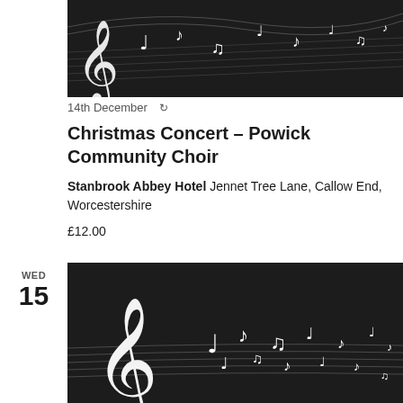[Figure (photo): Dark background with white musical notes and staff lines, cropped at top]
14th December ↻
Christmas Concert – Powick Community Choir
Stanbrook Abbey Hotel Jennet Tree Lane, Callow End, Worcestershire
£12.00
WED
15
[Figure (photo): Dark background with white treble clef, musical notes and staff lines]